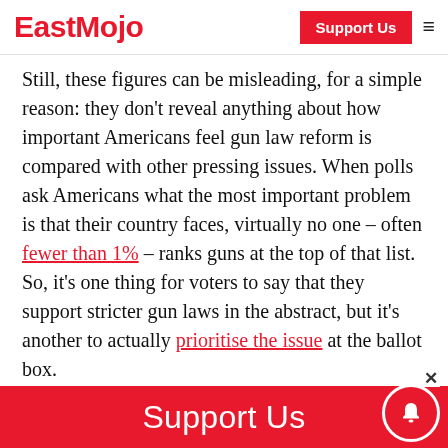EastMojo | Support Us
Still, these figures can be misleading, for a simple reason: they don't reveal anything about how important Americans feel gun law reform is compared with other pressing issues. When polls ask Americans what the most important problem is that their country faces, virtually no one – often fewer than 1% – ranks guns at the top of that list. So, it's one thing for voters to say that they support stricter gun laws in the abstract, but it's another to actually prioritise the issue at the ballot box.
Support Us